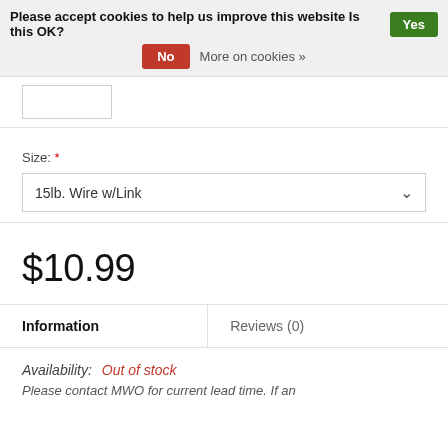Please accept cookies to help us improve this website Is this OK? Yes
No  More on cookies »
[Figure (other): Empty image placeholder box]
Size: *
15lb. Wire w/Link
$10.99
Information
Reviews (0)
Availability:  Out of stock
Please contact MWO for current lead time. If an